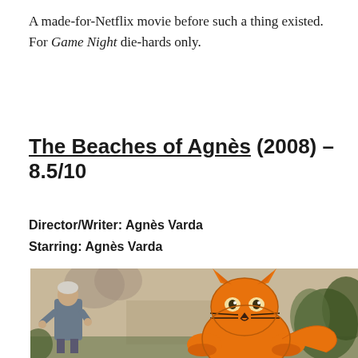A made-for-Netflix movie before such a thing existed. For Game Night die-hards only.
The Beaches of Agnès (2008) – 8.5/10
Director/Writer: Agnès Varda
Starring: Agnès Varda
[Figure (photo): A still from The Beaches of Agnès (2008) showing an elderly woman standing outdoors next to a large cartoon orange cat illustration, with trees and a wall in the background.]